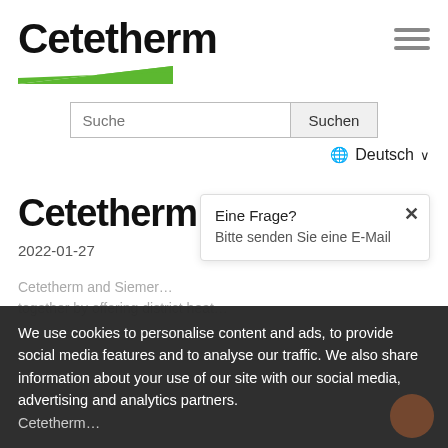[Figure (logo): Cetetherm logo with bold black text and green chevron/arrow shape beneath]
[Figure (illustration): Hamburger menu icon: three horizontal grey lines]
Suche
Suchen
⊕ Deutsch ∨
Cetetherm & Siemens
2022-01-27
Eine Frage?
Bitte senden Sie eine E-Mail
Cetetherm and Siemer... together by offering district heat...
We use cookies to personalise content and ads, to provide social media features and to analyse our traffic. We also share information about your use of our site with our social media, advertising and analytics partners.
Cetetherm...